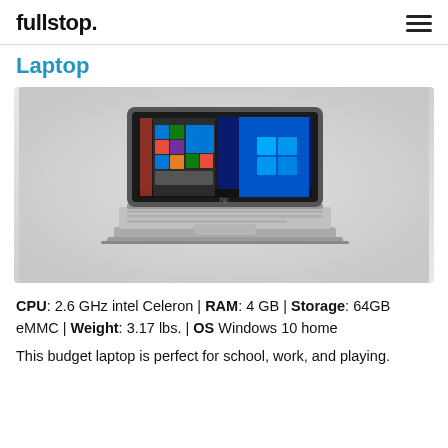fullstop.
Laptop
[Figure (photo): HP laptop open with Windows 10 desktop displayed on screen, silver/grey chassis with white keyboard, on grey gradient background]
CPU: 2.6 GHz intel Celeron | RAM: 4 GB | Storage: 64GB eMMC | Weight: 3.17 lbs. | OS Windows 10 home
This budget laptop is perfect for school, work, and playing.